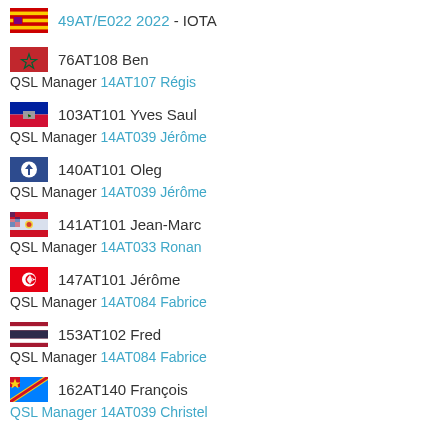49AT/E022 2022 - IOTA
76AT108 Ben
QSL Manager 14AT107 Régis
103AT101 Yves Saul
QSL Manager 14AT039 Jérôme
140AT101 Oleg
QSL Manager 14AT039 Jérôme
141AT101 Jean-Marc
QSL Manager 14AT033 Ronan
147AT101 Jérôme
QSL Manager 14AT084 Fabrice
153AT102 Fred
QSL Manager 14AT084 Fabrice
162AT140 François
QSL Manager 14AT039 Christel